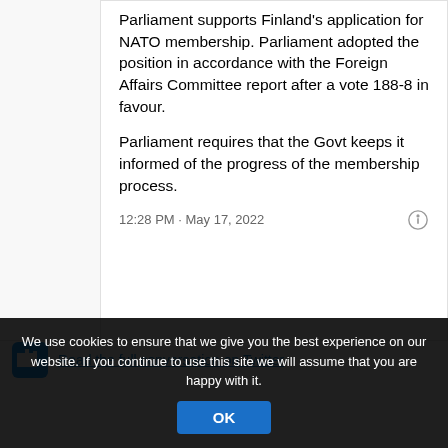Parliament supports Finland's application for NATO membership. Parliament adopted the position in accordance with the Foreign Affairs Committee report after a vote 188-8 in favour.
Parliament requires that the Govt keeps it informed of the progress of the membership process.
12:28 PM · May 17, 2022
Read the full conversation on Twitter
We use cookies to ensure that we give you the best experience on our website. If you continue to use this site we will assume that you are happy with it.